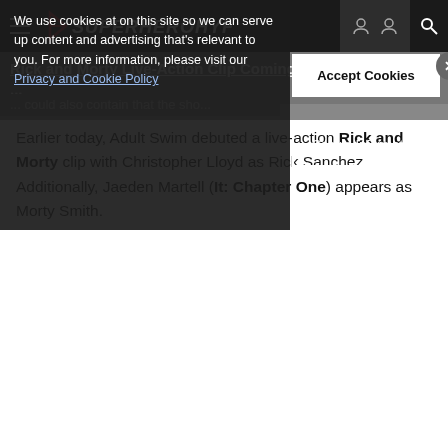SuperHeroHype
We use cookies at on this site so we can serve up content and advertising that's relevant to you. For more information, please visit our Privacy and Cookie Policy
Earlier today, Adult Swim debuted a live-action Rick and Morty clip with Christopher Lloyd as Rick Sanchez. Additionally, Jaeden Martell (It: Chapter One) appears as Morty Smith.